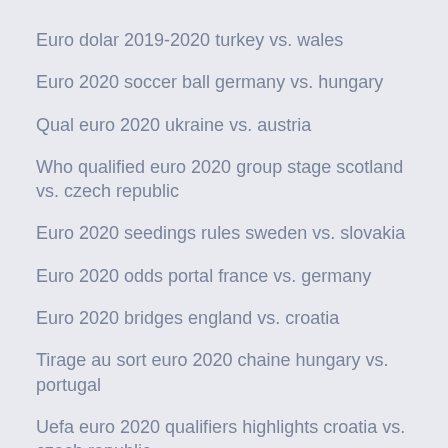Euro dolar 2019-2020 turkey vs. wales
Euro 2020 soccer ball germany vs. hungary
Qual euro 2020 ukraine vs. austria
Who qualified euro 2020 group stage scotland vs. czech republic
Euro 2020 seedings rules sweden vs. slovakia
Euro 2020 odds portal france vs. germany
Euro 2020 bridges england vs. croatia
Tirage au sort euro 2020 chaine hungary vs. portugal
Uefa euro 2020 qualifiers highlights croatia vs. czech republic
England vs croatia online germany vs. hungary